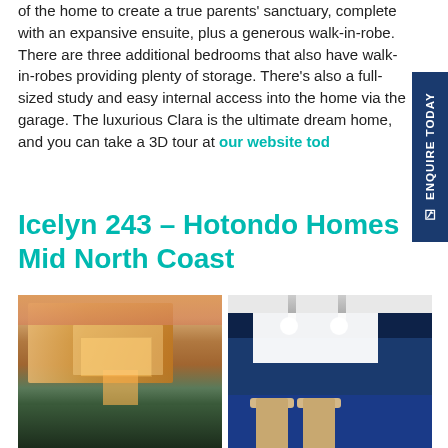of the home to create a true parents' sanctuary, complete with an expansive ensuite, plus a generous walk-in-robe. There are three additional bedrooms that also have walk-in-robes providing plenty of storage. There's also a full-sized study and easy internal access into the home via the garage. The luxurious Clara is the ultimate dream home, and you can take a 3D tour at our website today
Icelyn 243 – Hotondo Homes Mid North Coast
[Figure (photo): Exterior of a modern home at dusk with warm timber cladding and illuminated interior, green lawn in foreground]
[Figure (photo): Interior kitchen with deep navy blue cabinetry, white overhead cabinets, pendant globe lights, and wooden bar stools]